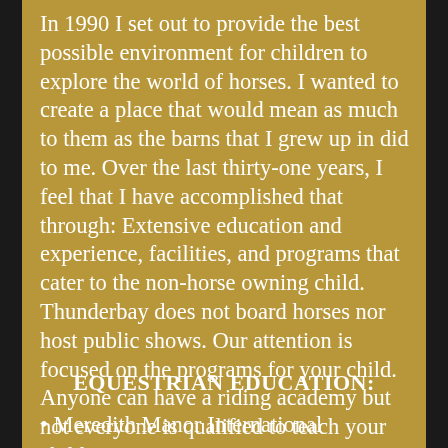In 1990 I set out to provide the best possible environment for children to explore the world of horses. I wanted to create a place that would mean as much to them as the barns that I grew up in did to me. Over the last thirty-one years, I feel that I have accomplished that through: Extensive education and experience, facilities, and programs that cater to the non-horse owning child. Thunderbay does not board horses nor host public shows. Our attention is focused on the programs for your child. Anyone can have a riding academy but not everyone is qualified to teach your child.
EQUESTRIAN EDUCATION:
• Meredith Manor International